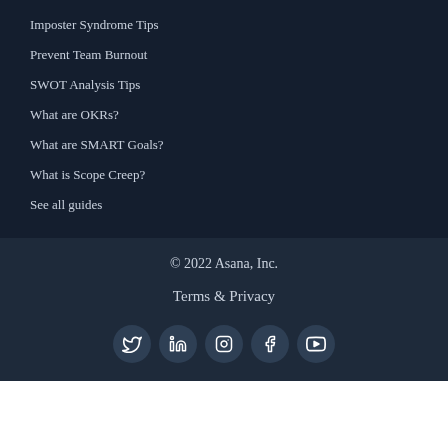Imposter Syndrome Tips
Prevent Team Burnout
SWOT Analysis Tips
What are OKRs?
What are SMART Goals?
What is Scope Creep?
See all guides
© 2022 Asana, Inc.
Terms & Privacy
[Figure (infographic): Row of 5 social media icons in circles: Twitter, LinkedIn, Instagram, Facebook, YouTube]